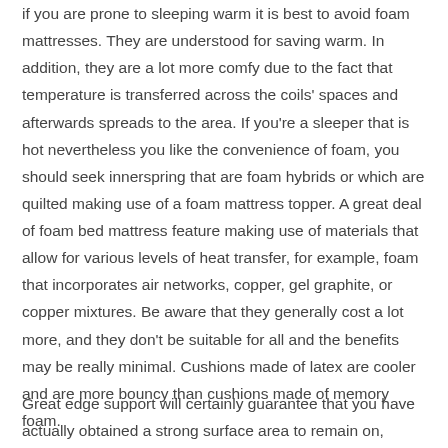if you are prone to sleeping warm it is best to avoid foam mattresses. They are understood for saving warm. In addition, they are a lot more comfy due to the fact that temperature is transferred across the coils' spaces and afterwards spreads to the area. If you're a sleeper that is hot nevertheless you like the convenience of foam, you should seek innerspring that are foam hybrids or which are quilted making use of a foam mattress topper. A great deal of foam bed mattress feature making use of materials that allow for various levels of heat transfer, for example, foam that incorporates air networks, copper, gel graphite, or copper mixtures. Be aware that they generally cost a lot more, and they don't be suitable for all and the benefits may be really minimal. Cushions made of latex are cooler and are more bouncy than cushions made of memory foam.
Great edge support will certainly guarantee that you have actually obtained a strong surface area to remain on, without having to